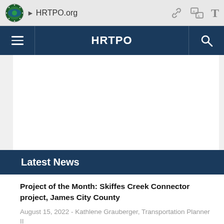HRTPO.org
HRTPO
[Figure (other): White content area / blank space placeholder]
Latest News
Project of the Month: Skiffes Creek Connector project, James City County
August 15, 2022 - Kathlene Grauberger, Transportation Planner II